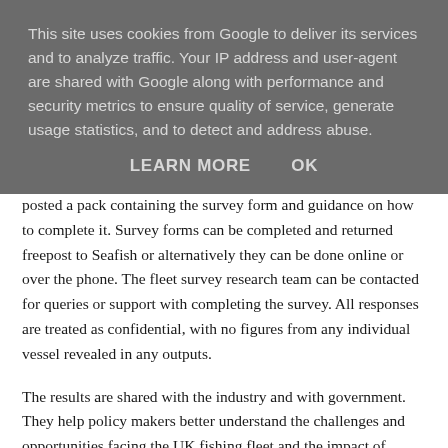This site uses cookies from Google to deliver its services and to analyze traffic. Your IP address and user-agent are shared with Google along with performance and security metrics to ensure quality of service, generate usage statistics, and to detect and address abuse.
LEARN MORE    OK
posted a pack containing the survey form and guidance on how to complete it. Survey forms can be completed and returned freepost to Seafish or alternatively they can be done online or over the phone. The fleet survey research team can be contacted for queries or support with completing the survey. All responses are treated as confidential, with no figures from any individual vessel revealed in any outputs.
The results are shared with the industry and with government. They help policy makers better understand the challenges and opportunities facing the UK fishing fleet and the impact of fisheries management measures. In recent months, data from last year's survey was used by the UK Government and the devolved administrations when designing targeted Covid-19 support